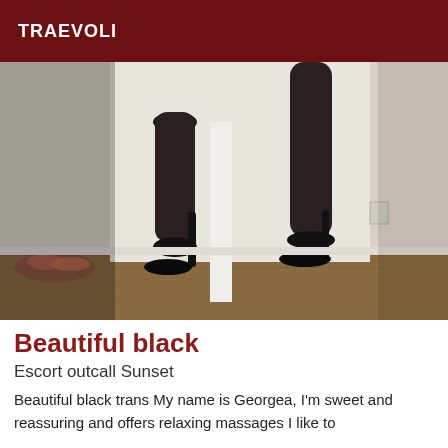TRAEVOLI
[Figure (photo): Photo of legs wearing black stockings and black high heel shoes, standing near a white door frame on a wooden floor]
Beautiful black
Escort outcall Sunset
Beautiful black trans My name is Georgea, I'm sweet and reassuring and offers relaxing massages I like to